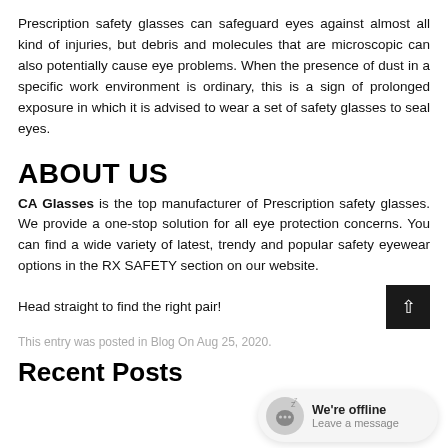Prescription safety glasses can safeguard eyes against almost all kind of injuries, but debris and molecules that are microscopic can also potentially cause eye problems. When the presence of dust in a specific work environment is ordinary, this is a sign of prolonged exposure in which it is advised to wear a set of safety glasses to seal eyes.
ABOUT US
CA Glasses is the top manufacturer of Prescription safety glasses. We provide a one-stop solution for all eye protection concerns. You can find a wide variety of latest, trendy and popular safety eyewear options in the RX SAFETY section on our website.
Head straight to find the right pair!
This entry was posted in Blog On Aug 25, 2020.
Recent Posts